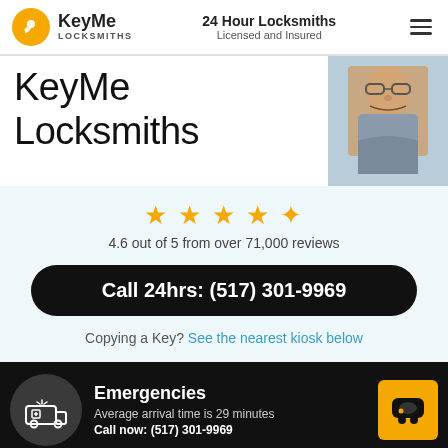KeyMe Locksmiths | 24 Hour Locksmiths Licensed and Insured
KeyMe Locksmiths
[Figure (photo): Photo of a man with glasses working, partially visible on right side]
4.6 out of 5 from over 71,000 reviews
Call 24hrs: (517) 301-9969
Copying a Key? See the nearest kiosk below
Emergencies
Average arrival time is 29 minutes
Call now: (517) 301-9969